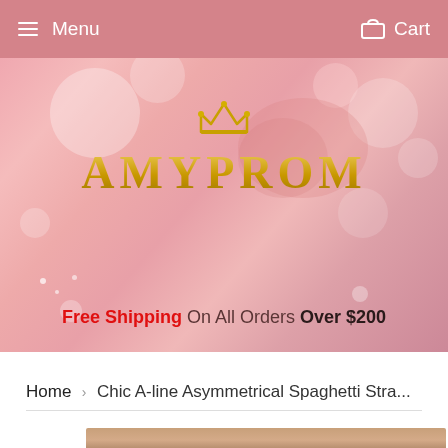Menu   Cart
[Figure (illustration): AmyProm brand hero banner with pink bokeh background, gold crown icon, AMYPROM logo in gold, and 'Free Shipping On All Orders Over $200' text]
Free Shipping On All Orders Over $200
Home › Chic A-line Asymmetrical Spaghetti Stra...
[Figure (photo): Partial product photo of a dress model at bottom of page]